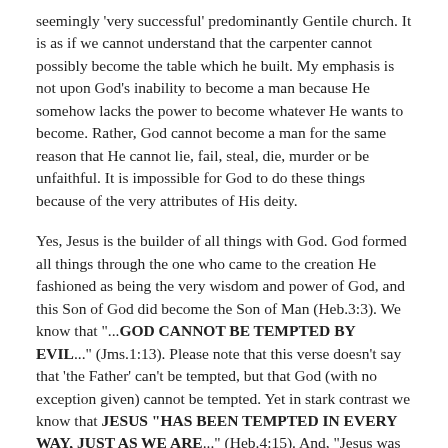seemingly 'very successful' predominantly Gentile church. It is as if we cannot understand that the carpenter cannot possibly become the table which he built. My emphasis is not upon God's inability to become a man because He somehow lacks the power to become whatever He wants to become. Rather, God cannot become a man for the same reason that He cannot lie, fail, steal, die, murder or be unfaithful. It is impossible for God to do these things because of the very attributes of His deity.
Yes, Jesus is the builder of all things with God. God formed all things through the one who came to the creation He fashioned as being the very wisdom and power of God, and this Son of God did become the Son of Man (Heb.3:3). We know that "...GOD CANNOT BE TEMPTED BY EVIL..." (Jms.1:13). Please note that this verse doesn't say that 'the Father' can't be tempted, but that God (with no exception given) cannot be tempted. Yet in stark contrast we know that JESUS "HAS BEEN TEMPTED IN EVERY WAY, JUST AS WE ARE..." (Heb.4:15). And, "Jesus was led by the Spirit into the desert to be tempted by the devil" (Mt.4:1).
We know that "NO ONE HAS EVER SEEN GOD..."